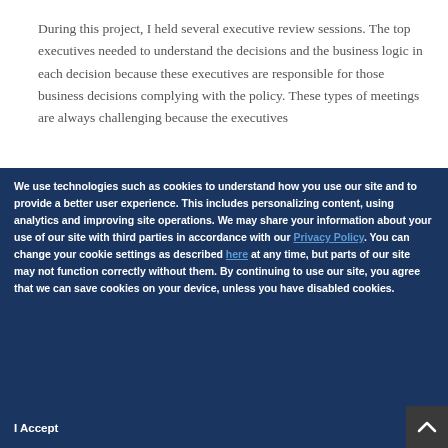During this project, I held several executive review sessions. The top executives needed to understand the decisions and the business logic in each decision because these executives are responsible for those business decisions complying with the policy. These types of meetings are always challenging because the executives
We use technologies such as cookies to understand how you use our site and to provide a better user experience. This includes personalizing content, using analytics and improving site operations. We may share your information about your use of our site with third parties in accordance with our Privacy Policy. You can change your cookie settings as described here at any time, but parts of our site may not function correctly without them. By continuing to use our site, you agree that we can save cookies on your device, unless you have disabled cookies.
I Accept